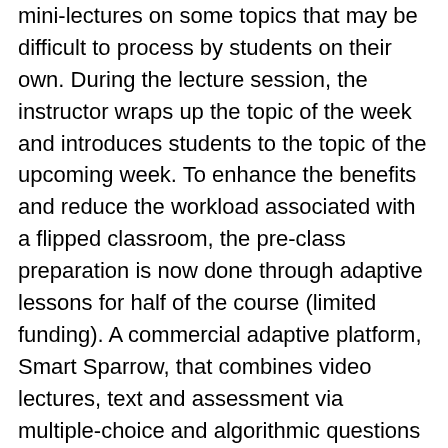mini-lectures on some topics that may be difficult to process by students on their own. During the lecture session, the instructor wraps up the topic of the week and introduces students to the topic of the upcoming week. To enhance the benefits and reduce the workload associated with a flipped classroom, the pre-class preparation is now done through adaptive lessons for half of the course (limited funding). A commercial adaptive platform, Smart Sparrow, that combines video lectures, text and assessment via multiple-choice and algorithmic questions is being used. The results show a Cohen's d approximately equal to 0.40 for the free-response questions of the course final examination and 0.6 standard deviations improvement in personalization.[58]
Programming: The flipped classroom was successfully used in 2013 to teach a programming